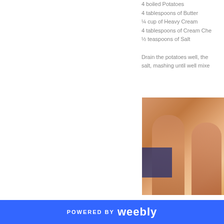4 boiled Potatoes
4 tablespoons of Butter
¼ cup of Heavy Cream
4 tablespoons of Cream Che...
½ teaspoons of Salt
Drain the potatoes well, then... salt, mashing until well mixe...
[Figure (photo): Two muscular men in white swimwear posing outdoors at what appears to be a fitness or bodybuilding event]
POWERED BY weebly